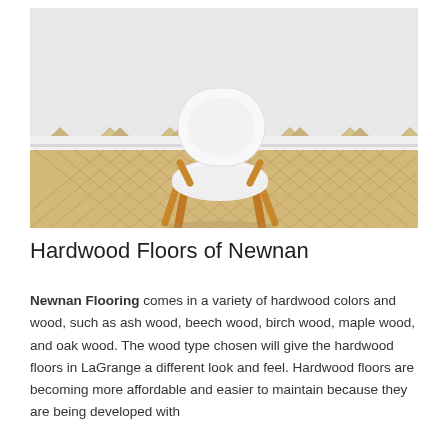[Figure (photo): A modern white chair with wooden legs sitting on a light herringbone hardwood floor against a white wall with white baseboard trim.]
Hardwood Floors of Newnan
Newnan Flooring comes in a variety of hardwood colors and wood, such as ash wood, beech wood, birch wood, maple wood, and oak wood. The wood type chosen will give the hardwood floors in LaGrange a different look and feel. Hardwood floors are becoming more affordable and easier to maintain because they are being developed with